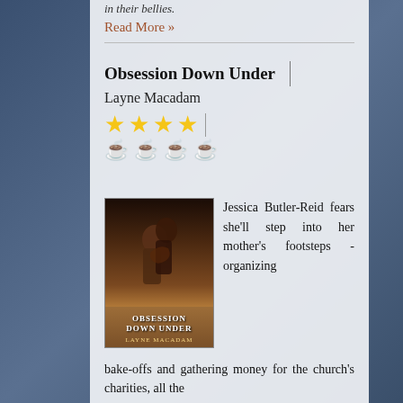in their bellies.
Read More »
Obsession Down Under
Layne Macadam
[Figure (other): Four gold star rating icons followed by a vertical divider line]
[Figure (other): Four teapot/lamp icons in dark grey]
[Figure (photo): Book cover for Obsession Down Under by Layne Macadam showing a romantic couple embracing]
Jessica Butler-Reid fears she'll step into her mother's footsteps - organizing bake-offs and gathering money for the church's charities, all the